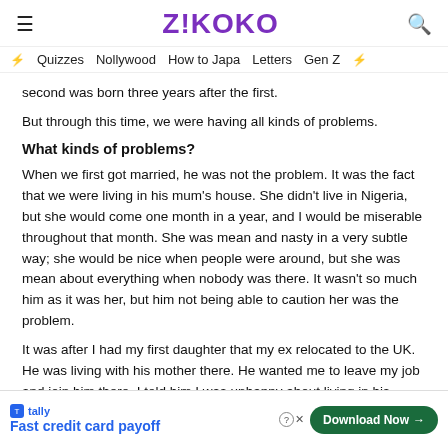Z!KOKO
Quizzes  Nollywood  How to Japa  Letters  Gen Z
second was born three years after the first.
But through this time, we were having all kinds of problems.
What kinds of problems?
When we first got married, he was not the problem. It was the fact that we were living in his mum's house. She didn't live in Nigeria, but she would come one month in a year, and I would be miserable throughout that month. She was mean and nasty in a very subtle way; she would be nice when people were around, but she was mean about everything when nobody was there. It wasn't so much him as it was her, but him not being able to caution her was the problem.
It was after I had my first daughter that my ex relocated to the UK. He was living with his mother there. He wanted me to leave my job and join him there. I told him I was unhappy about living in his mother's house there I didn't have
[Figure (screenshot): Advertisement banner for Tally app - Fast credit card payoff with Download Now button]